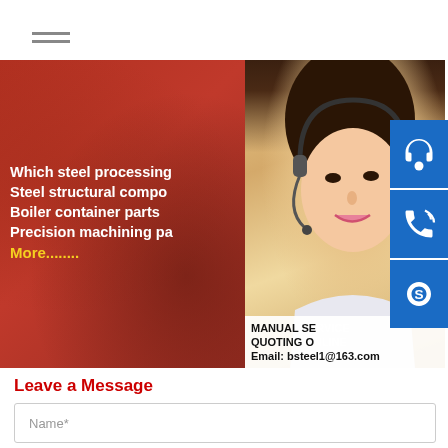[Figure (screenshot): Hamburger/menu icon with three horizontal lines]
[Figure (photo): Banner image with industrial red background on the left showing text about steel processing, and a woman customer service representative on the right with blue contact icons (headset, phone, Skype) on the far right, and contact information bar at bottom]
Leave a Message
Name*
Email*